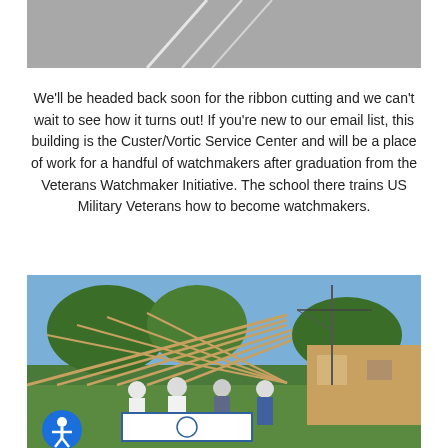[Figure (photo): Top cropped photo showing a gray surface with light streaks or reflections, partially visible at the top of the page.]
We'll be headed back soon for the ribbon cutting and we can't wait to see how it turns out! If you're new to our email list, this building is the Custer/Vortic Service Center and will be a place of work for a handful of watchmakers after graduation from the Veterans Watchmaker Initiative. The school there trains US Military Veterans how to become watchmakers.
[Figure (photo): Outdoor photo showing a group of people wearing masks standing in front of a building under construction with wooden framing/roof trusses visible. The people are holding a large ceremonial check. A blue accessibility icon button is visible in the bottom-left corner.]